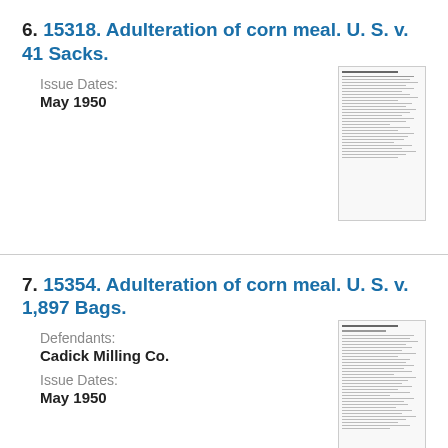6. 15318. Adulteration of corn meal. U. S. v. 41 Sacks.
Issue Dates:
May 1950
[Figure (other): Thumbnail image of a government document page with dense text]
7. 15354. Adulteration of corn meal. U. S. v. 1,897 Bags.
Defendants:
Cadick Milling Co.
Issue Dates:
May 1950
[Figure (other): Thumbnail image of a government document page with dense text]